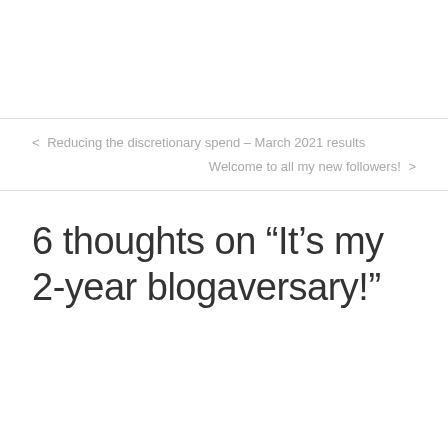< Reducing the discretionary spend – March 2021 results
Welcome to all my new followers! >
6 thoughts on “It’s my 2-year blogaversary!”
[Figure (logo): Small teal/green X-shaped logo icon with a stylized arrow or leaf design]